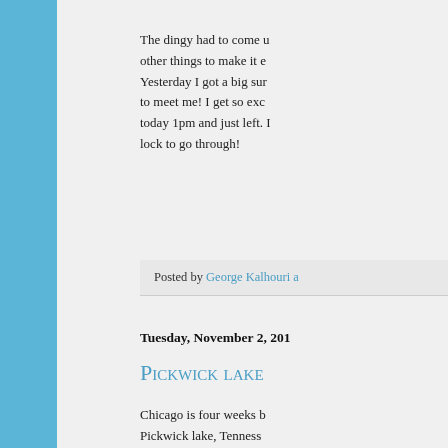The dingy had to come other things to make it Yesterday I got a big sur to meet me! I get so exc today 1pm and just left. lock to go through!
Posted by George Kalhouri a
Tuesday, November 2, 201
Pickwick lake
Chicago is four weeks b Pickwick lake, Tenness starts, which stretches f passed, the weather is g